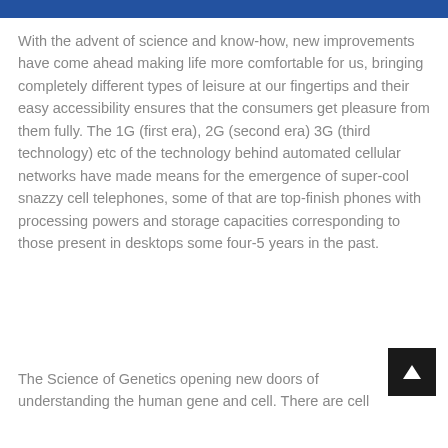With the advent of science and know-how, new improvements have come ahead making life more comfortable for us, bringing completely different types of leisure at our fingertips and their easy accessibility ensures that the consumers get pleasure from them fully. The 1G (first era), 2G (second era) 3G (third technology) etc of the technology behind automated cellular networks have made means for the emergence of super-cool snazzy cell telephones, some of that are top-finish phones with processing powers and storage capacities corresponding to those present in desktops some four-5 years in the past.
The Science of Genetics opening new doors of understanding the human gene and cell. There are cell